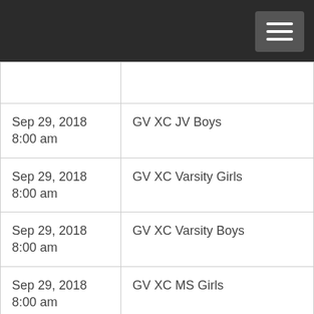| Date/Time | Event |
| --- | --- |
| Sep 29, 2018 8:00 am | GV XC JV Boys |
| Sep 29, 2018 8:00 am | GV XC Varsity Girls |
| Sep 29, 2018 8:00 am | GV XC Varsity Boys |
| Sep 29, 2018 8:00 am | GV XC MS Girls |
| Sep 29, 2018 8:00 am | GV XC MS Boys |
| Sep 29, 2018 | Oktoberfest |